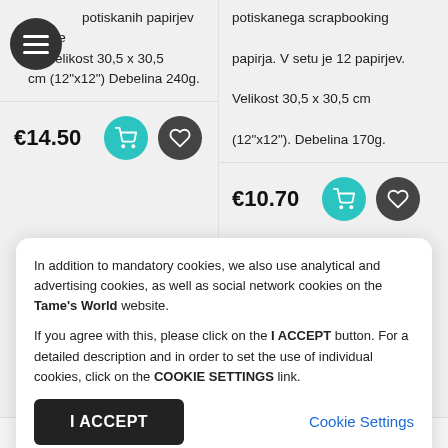potiskanih papirjev kolekcije ... er. Velikost 30,5 x 30,5 cm (12"x12") Debelina 240g.
€14.50
potiskanega scrapbooking papirja. V setu je 12 papirjev. Velikost 30,5 x 30,5 cm (12"x12"). Debelina 170g.
€10.70
In addition to mandatory cookies, we also use analytical and advertising cookies, as well as social network cookies on the Tame's World website.

If you agree with this, please click on the I ACCEPT button. For a detailed description and in order to set the use of individual cookies, click on the COOKIE SETTINGS link.
I ACCEPT
Cookie Settings